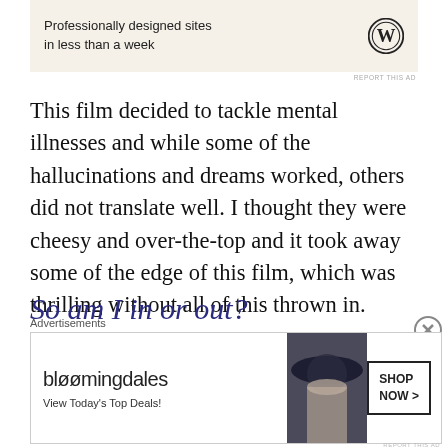[Figure (other): WordPress advertisement banner: 'Professionally designed sites in less than a week' with WordPress logo]
REPORT THIS AD
This film decided to tackle mental illnesses and while some of the hallucinations and dreams worked, others did not translate well. I thought they were cheesy and over-the-top and it took away some of the edge of this film, which was thrilling without all of this thrown in.
So am I in or out?
Advertisements
[Figure (other): Bloomingdale's advertisement: 'View Today's Top Deals!' with woman in hat and 'SHOP NOW >' button]